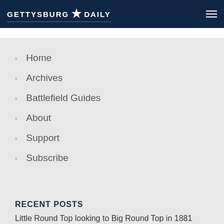GETTYSBURG DAILY
Home
Archives
Battlefield Guides
About
Support
Subscribe
RECENT POSTS
Little Round Top looking to Big Round Top in 1881